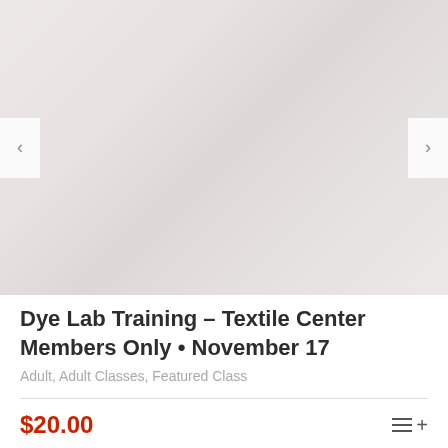[Figure (photo): Faded/washed-out photo of textile dyeing lab setting, very light colors, with left and right navigation arrows overlaid]
Dye Lab Training – Textile Center Members Only • November 17
Adult, Adult Classes, Featured Class
$20.00